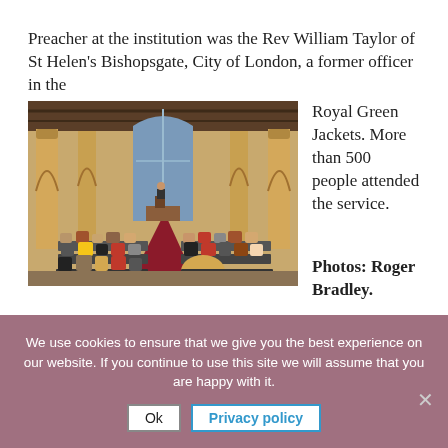Preacher at the institution was the Rev William Taylor of St Helen's Bishopsgate, City of London, a former officer in the Royal Green Jackets. More than 500 people attended the service.
[Figure (photo): Interior of a church packed with over 500 congregation members seated in pews, viewed from the back, with ornate Gothic arches, yellow walls, and a red carpeted aisle leading to the pulpit.]
Photos: Roger Bradley.
We use cookies to ensure that we give you the best experience on our website. If you continue to use this site we will assume that you are happy with it.